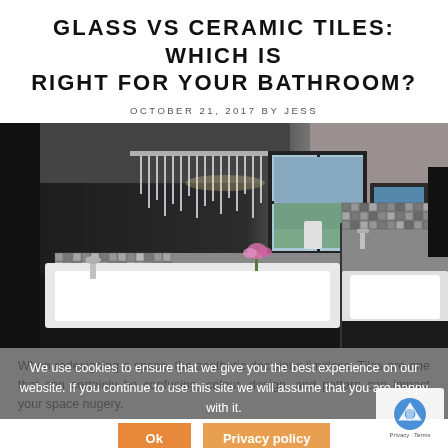GLASS VS CERAMIC TILES: WHICH IS RIGHT FOR YOUR BATHROOM?
OCTOBER 21, 2017 BY JESS
[Figure (photo): Modern bathroom interior with dark walls, crystal chandelier, white bathtub with mosaic tile surround, and vessel sink with glass mosaic backsplash]
We use cookies to ensure that we give you the best experience on our website. If you continue to use this site we will assume that you are happy with it.
Ok
Privacy policy
When redesigning a space, the aesthetic decisions limitless. Tiles are one that can certainly be confusing, colour, design, and pattern can impact your space nugery.